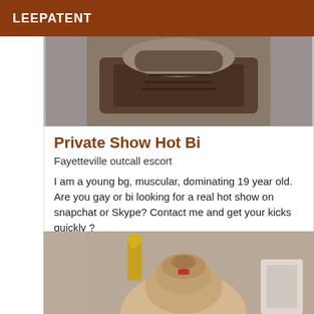LEEPATENT
[Figure (photo): Close-up photo of a person's torso wearing dark jeans, partially cropped, against a light background.]
Private Show Hot Bi
Fayetteville outcall escort
I am a young bg, muscular, dominating 19 year old. Are you gay or bi looking for a real hot show on snapchat or Skype? Contact me and get your kicks quickly ?
[Figure (photo): Photo of a blonde woman with heavy makeup and red lipstick, looking down, with a candelabra visible in the background.]